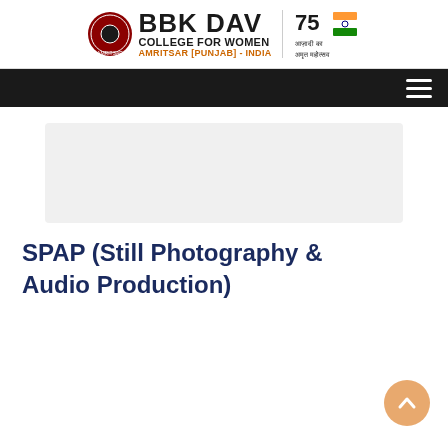[Figure (logo): BBK DAV College for Women logo header with circular emblem, college name, Amritsar Punjab India text in orange, and Azadi Ka Amrit Mahotsav 75th anniversary emblem on the right]
[Figure (screenshot): Navigation bar with hamburger menu icon on dark/black background]
[Figure (photo): Light grey rectangular image placeholder area]
SPAP (Still Photography & Audio Production)